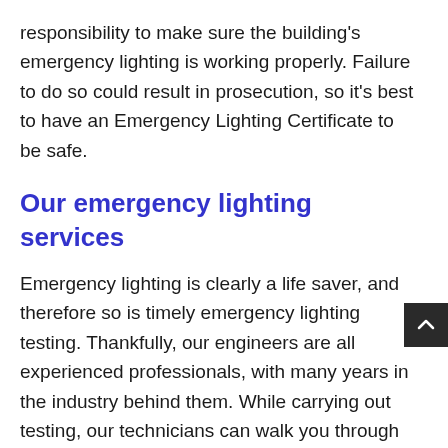responsibility to make sure the building's emergency lighting is working properly. Failure to do so could result in prosecution, so it's best to have an Emergency Lighting Certificate to be safe.
Our emergency lighting services
Emergency lighting is clearly a life saver, and therefore so is timely emergency lighting testing. Thankfully, our engineers are all experienced professionals, with many years in the industry behind them. While carrying out testing, our technicians can walk you through the steps they are taking, and explain how to best maintain emergency lighting. With a three